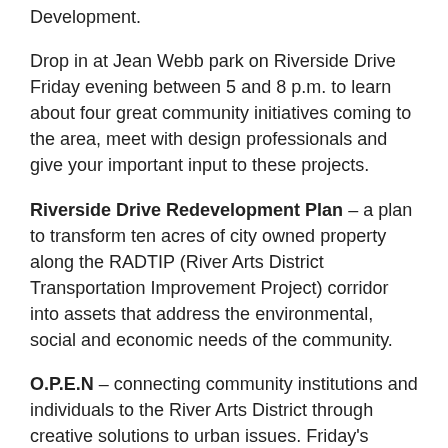Development.
Drop in at Jean Webb park on Riverside Drive Friday evening between 5 and 8 p.m. to learn about four great community initiatives coming to the area, meet with design professionals and give your important input to these projects.
Riverside Drive Redevelopment Plan – a plan to transform ten acres of city owned property along the RADTIP (River Arts District Transportation Improvement Project) corridor into assets that address the environmental, social and economic needs of the community.
O.P.E.N – connecting community institutions and individuals to the River Arts District through creative solutions to urban issues. Friday's focus: wellness and finding your way around.
Design Build Studio– Asheville Design Center's